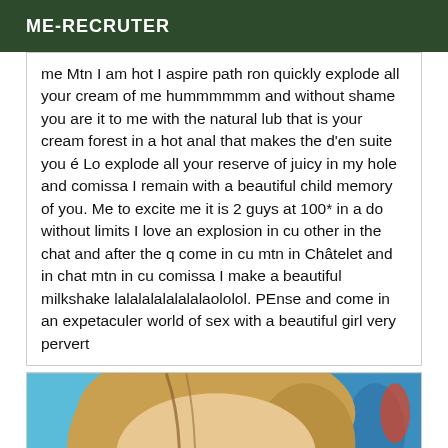ME-RECRUTER
me Mtn I am hot I aspire path ron quickly explode all your cream of me hummmmmm and without shame you are it to me with the natural lub that is your cream forest in a hot anal that makes the d'en suite you é Lo explode all your reserve of juicy in my hole and comissa I remain with a beautiful child memory of you. Me to excite me it is 2 guys at 100* in a do without limits I love an explosion in cu other in the chat and after the q come in cu mtn in Châtelet and in chat mtn in cu comissa I make a beautiful milkshake lalalalalalalalaololol. PEnse and come in an expetaculer world of sex with a beautiful girl very pervert
[Figure (photo): Close-up photo of a young blonde woman with eyes closed, turquoise/blue background with colorful elements visible]